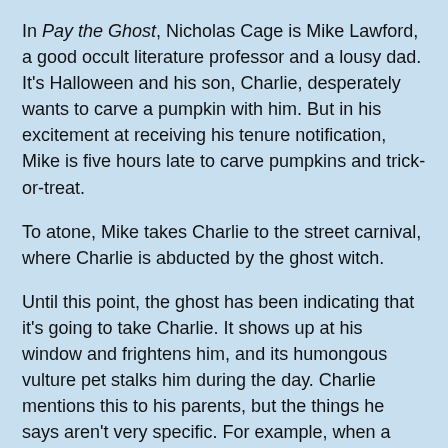In Pay the Ghost, Nicholas Cage is Mike Lawford, a good occult literature professor and a lousy dad. It's Halloween and his son, Charlie, desperately wants to carve a pumpkin with him. But in his excitement at receiving his tenure notification, Mike is five hours late to carve pumpkins and trick-or-treat.
To atone, Mike takes Charlie to the street carnival, where Charlie is abducted by the ghost witch.
Until this point, the ghost has been indicating that it's going to take Charlie. It shows up at his window and frightens him, and its humongous vulture pet stalks him during the day. Charlie mentions this to his parents, but the things he says aren't very specific. For example, when a pterodactyl-sized vulture stalks him from a rooftop, Charlie unhelpfully asks his parents "Hey, did you guys see that bird?"
And when he sees the charred specter of an undead witch hovering outside his window, he says "There was something outside my window."